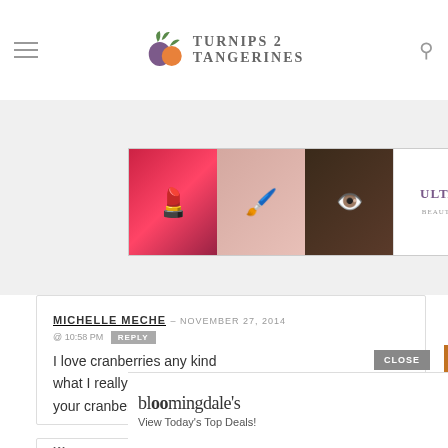TURNIPS 2 TANGERINES
5 Comments on “Cranberry Orange…”
[Figure (screenshot): ULTA Beauty advertisement banner with close-up makeup product images and SHOP NOW button]
MICHELLE MECHE – NOVEMBER 27, 2014 @ 10:58 PM REPLY
I love cranberries any kind what I really am wild about your cranberry sauce. Gre…
[Figure (screenshot): Video overlay: Frozen Pizza - Hydrant, The Wisconsin Series, Pepperoni Pizza with play button]
KI… 5:2…
[Figure (screenshot): Bloomingdale's advertisement: View Today's Top Deals! SHOP NOW >]
CLOSE